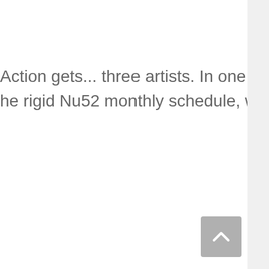Action gets... three artists. In one issue. One 20 page issue. And he rigid Nu52 monthly schedule, working with a great artist that